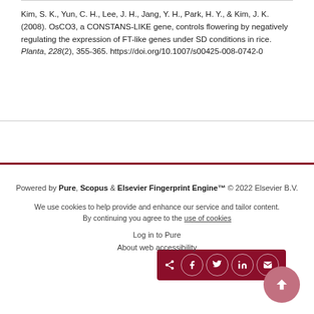Kim, S. K., Yun, C. H., Lee, J. H., Jang, Y. H., Park, H. Y., & Kim, J. K. (2008). OsCO3, a CONSTANS-LIKE gene, controls flowering by negatively regulating the expression of FT-like genes under SD conditions in rice. Planta, 228(2), 355-365. https://doi.org/10.1007/s00425-008-0742-0
[Figure (other): Social share bar with icons for share, Facebook, Twitter, LinkedIn, and email on dark red background]
Powered by Pure, Scopus & Elsevier Fingerprint Engine™ © 2022 Elsevier B.V.
We use cookies to help provide and enhance our service and tailor content. By continuing you agree to the use of cookies
Log in to Pure
About web accessibility